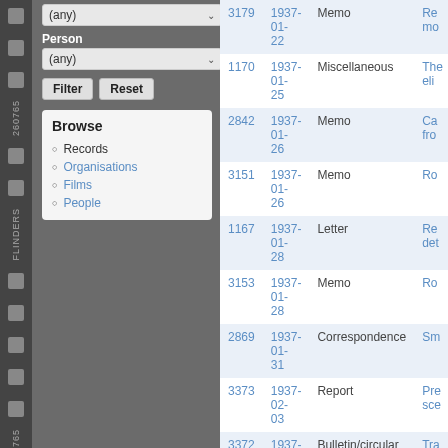Person dropdown: (any)
Filter / Reset buttons
Browse
Records
Organisations
Films
People
| ID | Date | Type | Description |
| --- | --- | --- | --- |
| 3179 | 1937-01-22 | Memo | Re... mo... |
| 1170 | 1937-01-25 | Miscellaneous | The... eli... |
| 2842 | 1937-01-26 | Memo | Ca... fro... |
| 3151 | 1937-01-26 | Memo | Ro... |
| 1167 | 1937-01-28 | Letter | Re... det... |
| 3153 | 1937-01-28 | Memo | Ro... |
| 2869 | 1937-01-31 | Correspondence | Sm... |
| 3373 | 1937-02-03 | Report | Pre... sce... |
| 3372 | 1937-02-09 | Bulletin/circular | Tra... |